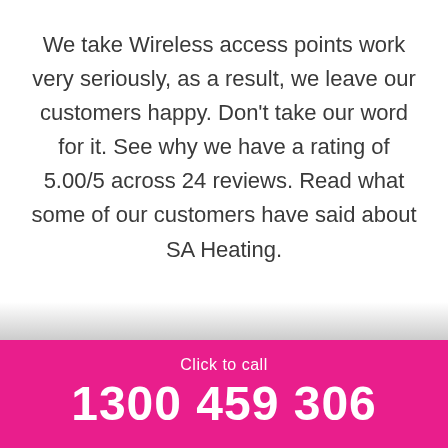We take Wireless access points work very seriously, as a result, we leave our customers happy. Don't take our word for it. See why we have a rating of 5.00/5 across 24 reviews. Read what some of our customers have said about SA Heating.
Click to call
1300 459 306